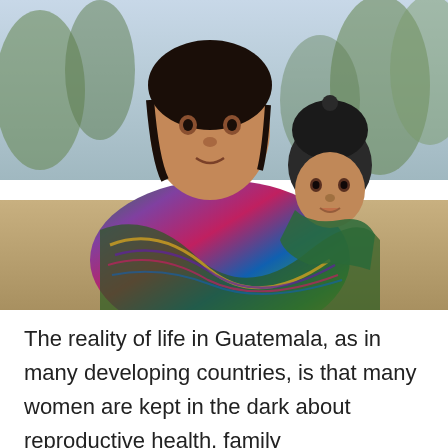[Figure (photo): A young girl from Guatemala smiling over her shoulder at the camera while carrying a baby on her back wrapped in a colorful traditional woven cloth. The baby wears a dark knit hat. Background shows blurred trees and an outdoor setting.]
The reality of life in Guatemala, as in many developing countries, is that many women are kept in the dark about reproductive health, family